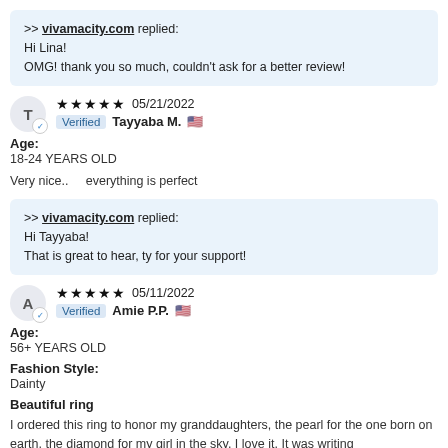>> vivamacity.com replied:
Hi Lina!
OMG! thank you so much, couldn't ask for a better review!
★★★★★ 05/21/2022 Verified Tayyaba M.
Age:
18-24 YEARS OLD
Very nice..    everything is perfect
>> vivamacity.com replied:
Hi Tayyaba!
That is great to hear, ty for your support!
★★★★★ 05/11/2022 Verified Amie P.P.
Age:
56+ YEARS OLD
Fashion Style:
Dainty
Beautiful ring
I ordered this ring to honor my granddaughters, the pearl for the one born on earth, the diamond for my girl in the sky. I love it. It was writing